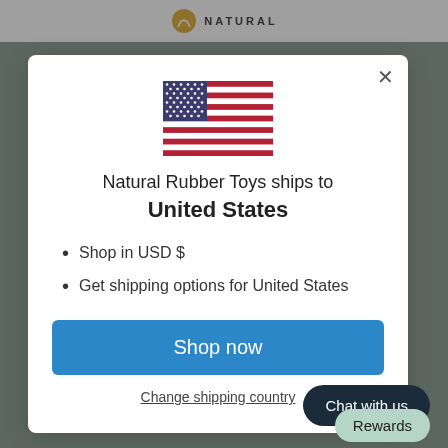[Figure (screenshot): Website header with 'NATURAL' logo text and decorative icon]
[Figure (illustration): United States flag SVG illustration]
Natural Rubber Toys ships to United States
Shop in USD $
Get shipping options for United States
Shop now
Change shipping country
Chat with us
Rewards